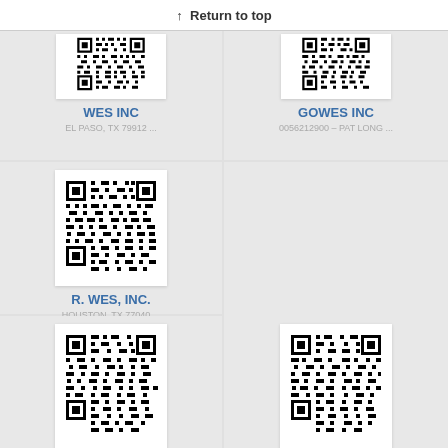↑ Return to top
[Figure (other): QR code for WES INC, partially cropped at top]
WES INC
EL PASO, TX 79912 ...
[Figure (other): QR code for GOWES INC, partially cropped at top]
GOWES INC
0056212900 – PAT LONG ...
[Figure (other): QR code for R. WES, INC.]
R. WES, INC.
HOUSTON, TX 77040 ...
[Figure (other): QR code (bottom left, partially cropped)]
[Figure (other): QR code (bottom right, partially cropped)]